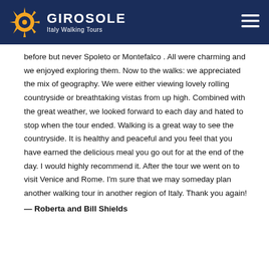GIROSOLE Italy Walking Tours
before but never Spoleto or Montefalco . All were charming and we enjoyed exploring them. Now to the walks: we appreciated the mix of geography. We were either viewing lovely rolling countryside or breathtaking vistas from up high. Combined with the great weather, we looked forward to each day and hated to stop when the tour ended. Walking is a great way to see the countryside. It is healthy and peaceful and you feel that you have earned the delicious meal you go out for at the end of the day. I would highly recommend it. After the tour we went on to visit Venice and Rome. I'm sure that we may someday plan another walking tour in another region of Italy. Thank you again!
— Roberta and Bill Shields